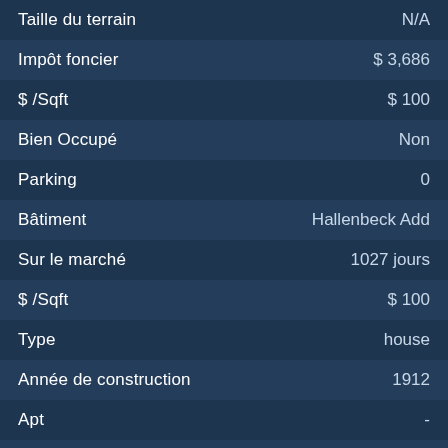| Label | Value |
| --- | --- |
| Taille du terrain | N/A |
| Impôt foncier | $ 3,686 |
| $ /Sqft | $ 100 |
| Bien Occupé | Non |
| Parking | 0 |
| Bâtiment | Hallenbeck Add |
| Sur le marché | 1027 jours |
| $ /Sqft | $ 100 |
| Type | house |
| Année de construction | 1912 |
| Apt | - |
| Code postal | 76530 |
| Réf./MLS ID | 6748178 |